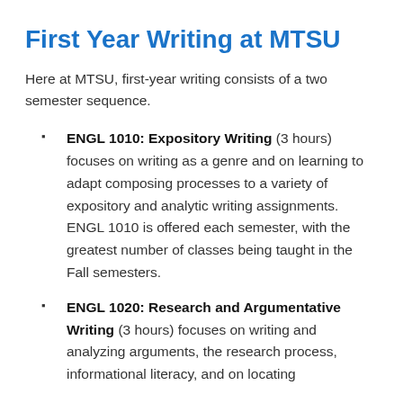First Year Writing at MTSU
Here at MTSU, first-year writing consists of a two semester sequence.
ENGL 1010: Expository Writing (3 hours) focuses on writing as a genre and on learning to adapt composing processes to a variety of expository and analytic writing assignments. ENGL 1010 is offered each semester, with the greatest number of classes being taught in the Fall semesters.
ENGL 1020: Research and Argumentative Writing (3 hours) focuses on writing and analyzing arguments, the research process, informational literacy, and on locating